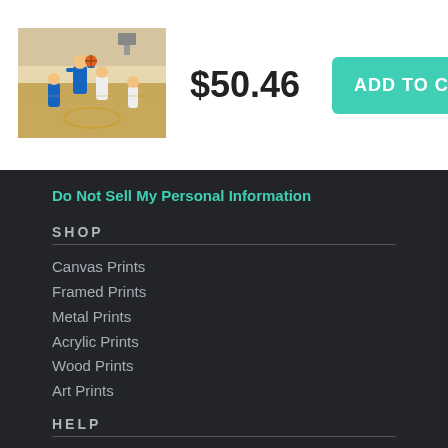[Figure (photo): Basketball game action photo thumbnail showing players on court]
$50.46
ADD TO CART
Do Not Sell My Personal Information
SHOP
Canvas Prints
Framed Prints
Metal Prints
Acrylic Prints
Wood Prints
Art Prints
HELP
Contact Us
Frequently Asked Questions
Return Policy
Returns
Terms of Use
Privacy Policy